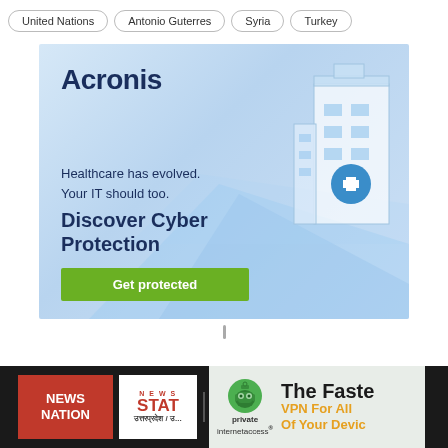United Nations
Antonio Guterres
Syria
Turkey
[Figure (illustration): Acronis advertisement banner with light blue gradient background, building/hospital illustration on right, text: 'Acronis', 'Healthcare has evolved. Your IT should too.', 'Discover Cyber Protection', green button 'Get protected']
[Figure (logo): NEWS NATION logo in white text on red background]
[Figure (logo): NEWS STATE / उत्तरप्रदेश logo in red]
[Figure (illustration): Private Internet Access VPN ad - robot mascot logo, text 'The Faste', 'VPN For All Of Your Device']